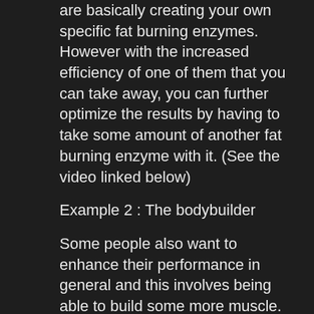are basically creating your own specific fat burning enzymes. However with the increased efficiency of one of them that you can take away, you can further optimize the results by having to take some amount of another fat burning enzyme with it. (See the video linked below)
Example 2 : The bodybuilder
Some people also want to enhance their performance in general and this involves being able to build some more muscle.
To do this they take up the use of one of these N-demethylation enzymes that are activated when you combine them
Related Article: https://www.sendai-hidamari-dental.com/profile/harlandwickers33523/profile